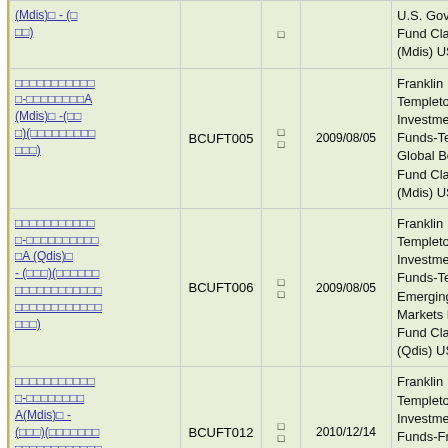| Fund Name (Thai) | Code | Type | Date | Fund Name (English) |
| --- | --- | --- | --- | --- |
| (Mdis)□ - (□□) | – | □□ | – | U.S. Govern Fund Class A (Mdis) USD |
| □□□□□□□□□□□ □-□□□□□□□□A (Mdis)□ -(□□□)(□□□□□□□□□□□□□□) | BCUFT005 | □□ | 2009/08/05 | Franklin Templeton Investment Funds-Temp Global Bond Fund Class A (Mdis) USD |
| □□□□□□□□□□□ □-□□□□□□□□□□ □A (Qdis)□ - (□□□)(□□□□□□ □□□□□□□□□□□□□□□□□□□□□□□□□) | BCUFT006 | □□ | 2009/08/05 | Franklin Templeton Investment Funds-Temp Emerging Markets Bond Fund Class A (Qdis) USD |
| □□□□□□□□□□□ □-□□□□□□□□ A(Mdis)□ - (□□□)(□□□□□□□□ □□□□□□□□□□□□□□□□□□□□) | BCUFT012 | □□ | 2010/12/14 | Franklin Templeton Investment Funds-Frank Strategic Income Fund Class... |